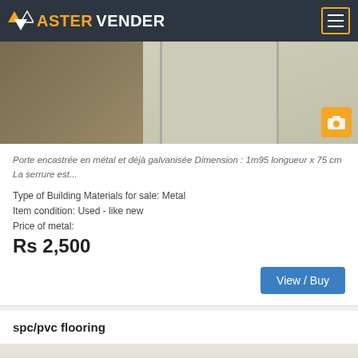ASTERVENDER
[Figure (photo): Metal door / galvanized door product photo showing a room with a door]
Porte encastrée en métal et déjà galvanisée Dimension : 1m95 longueur x 75 cm La serrure est...
Type of Building Materials for sale: Metal
Item condition: Used - like new
Price of metal:
Rs 2,500
View / Buy
spc/pvc flooring
[Figure (photo): Flooring product photo showing floor tiles with a stone/object on them]